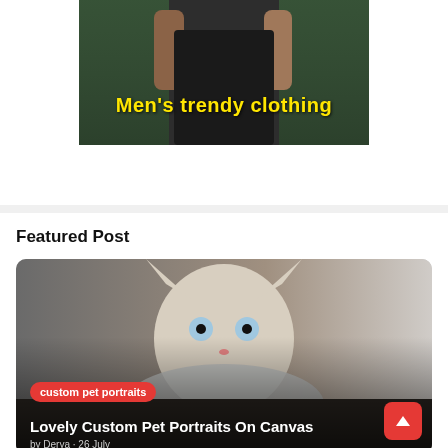[Figure (photo): Advertisement banner showing a tattooed man in a dark t-shirt with yellow bold text overlay reading Men's trendy clothing]
Featured Post
[Figure (photo): Featured blog post card showing a cat wearing an Elizabethan ruff collar costume, with a red category tag 'custom pet portraits', post title 'Lovely Custom Pet Portraits On Canvas', authored by Derya on 26 July, with a red scroll-to-top button]